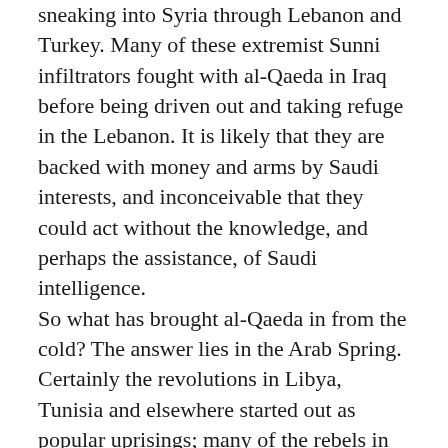sneaking into Syria through Lebanon and Turkey. Many of these extremist Sunni infiltrators fought with al-Qaeda in Iraq before being driven out and taking refuge in the Lebanon. It is likely that they are backed with money and arms by Saudi interests, and inconceivable that they could act without the knowledge, and perhaps the assistance, of Saudi intelligence.
So what has brought al-Qaeda in from the cold? The answer lies in the Arab Spring. Certainly the revolutions in Libya, Tunisia and elsewhere started out as popular uprisings; many of the rebels in Syria continue to fight, and often die, for human rights and democracy. But, as time has gone by, other agendas are coming into play, and other interests have sought to assert themselves. The statecraft of Saudi Arabia